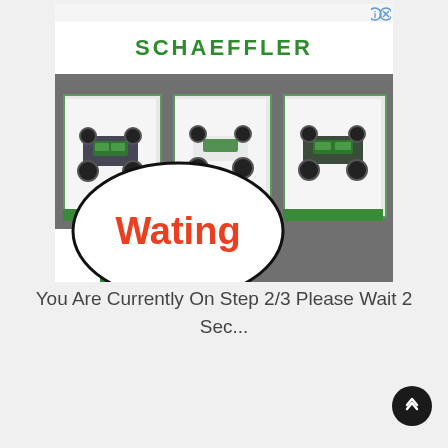[Figure (screenshot): Schaeffler advertisement banner showing three open drawers with miniature car chassis/RC car components inside. A hand-drawn speech bubble overlay contains the word 'Wating' in orange/red text.]
You Are Currently On Step 2/3 Please Wait 2 Sec...